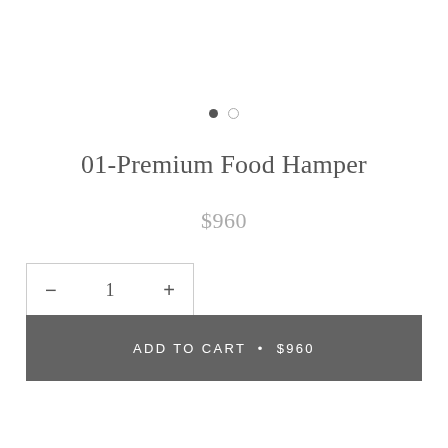[Figure (other): Two pagination dots: one filled dark circle (active) and one empty circle outline (inactive)]
01-Premium Food Hamper
$960
− 1 +
ADD TO CART • $960